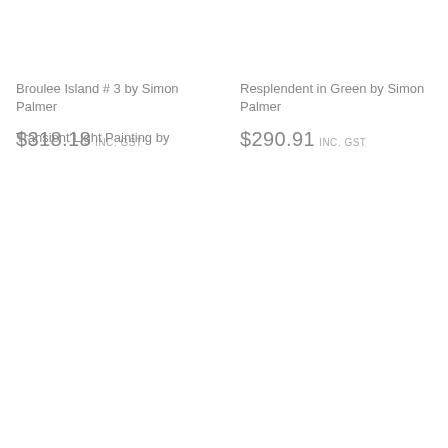Broulee Island # 3 by Simon Palmer
$318.18 inc. GST
Resplendent in Green by Simon Palmer
$290.91 inc. GST
Transient Light Painting by